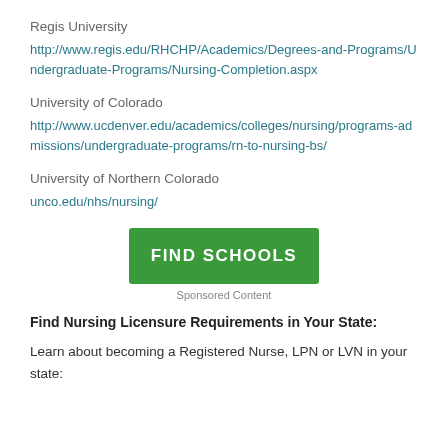Regis University
http://www.regis.edu/RHCHP/Academics/Degrees-and-Programs/Undergraduate-Programs/Nursing-Completion.aspx
University of Colorado
http://www.ucdenver.edu/academics/colleges/nursing/programs-admissions/undergraduate-programs/rn-to-nursing-bs/
University of Northern Colorado
unco.edu/nhs/nursing/
[Figure (other): Green 'FIND SCHOOLS' button]
Sponsored Content
Find Nursing Licensure Requirements in Your State:
Learn about becoming a Registered Nurse, LPN or LVN in your state: